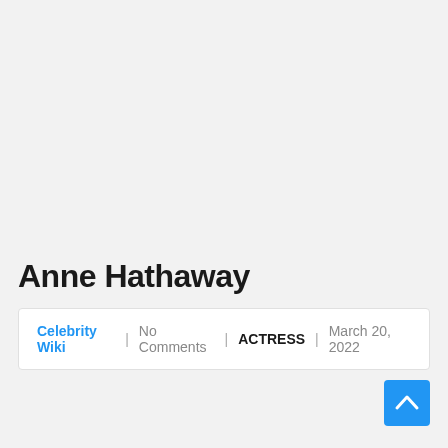Anne Hathaway
Celebrity Wiki | No Comments | ACTRESS | March 20, 2022
[Figure (other): Blue square back-to-top button with upward chevron arrow icon]